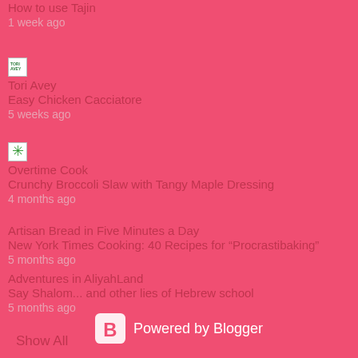How to use Tajin
1 week ago
[Figure (logo): Tori Avey blog favicon - small square logo with green text]
Tori Avey
Easy Chicken Cacciatore
5 weeks ago
[Figure (logo): Overtime Cook blog favicon - green asterisk/snowflake icon]
Overtime Cook
Crunchy Broccoli Slaw with Tangy Maple Dressing
4 months ago
Artisan Bread in Five Minutes a Day
New York Times Cooking: 40 Recipes for “Procrastibaking”
5 months ago
Adventures in AliyahLand
Say Shalom... and other lies of Hebrew school
5 months ago
Show All
Powered by Blogger